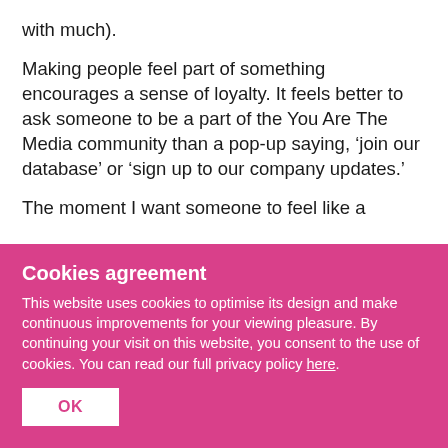with much).
Making people feel part of something encourages a sense of loyalty. It feels better to ask someone to be a part of the You Are The Media community than a pop-up saying, ‘join our database’ or ‘sign up to our company updates.’
The moment I want someone to feel like a
Cookies agreement
This website uses cookies to optimise its design and make continuous improvements for your viewing pleasure. By continuing your visit on this website, you consent to the use of cookies. You can read our full privacy policy here.